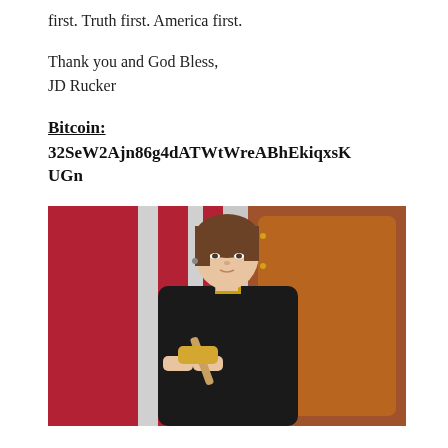first. Truth first. America first.
Thank you and God Bless,
JD Rucker
Bitcoin:
32SeW2Ajn86g4dATWtWreABhEkiqxsKUGn
[Figure (photo): A woman in a black outfit holding a wooden gavel, standing in front of an American flag and a brown leather chair. She has short brown hair.]